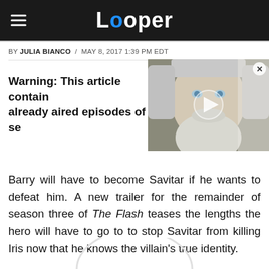Looper
BY JULIA BIANCO / MAY 8, 2017 1:39 PM EDT
Warning: This article contains spoilers for already aired episodes of se...
[Figure (screenshot): Video thumbnail showing an elderly white-haired and bearded man, with a play button overlay and close button]
Barry will have to become Savitar if he wants to defeat him. A new trailer for the remainder of season three of The Flash teases the lengths the hero will have to go to to stop Savitar from killing Iris now that he knows the villain's true identity.